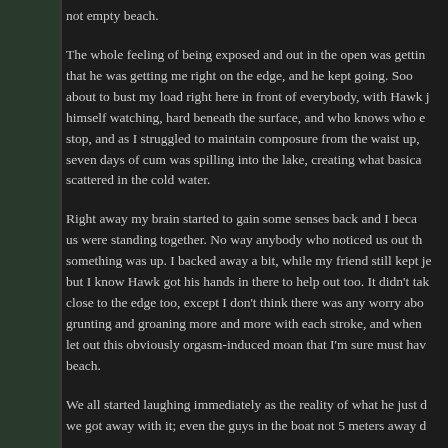not empty beach.
The whole feeling of being exposed and out in the open was getting to me, that he was getting me right on the edge, and he kept going. Soon I was about to bust my load right here in front of everybody, with Hawk j... himself watching, hard beneath the surface, and who knows who else. I didn't stop, and as I struggled to maintain composure from the waist up, seven days of cum was spilling into the lake, creating what basically scattered in the cold water.
Right away my brain started to gain some senses back and I became aware us were standing together. No way anybody who noticed us out there something was up. I backed away a bit, while my friend still kept je... but I know Hawk got his hands in there to help out too. It didn't take close to the edge too, except I don't think there was any worry about grunting and groaning more and more with each stroke, and when he let out this obviously orgasm-induced moan that I'm sure must have beach.
We all started laughing immediately as the reality of what he just did, we got away with it; even the guys in the boat not 5 meters away d...